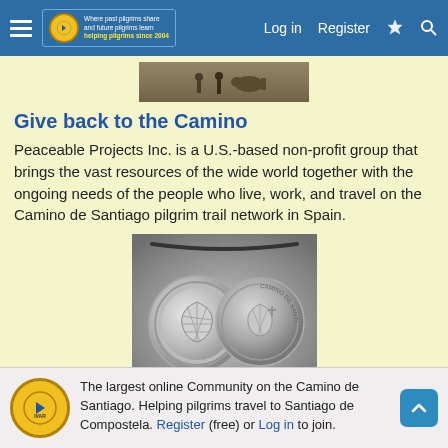Log in  Register
[Figure (photo): Partial photo of pilgrims walking on a trail with animals, cropped at top]
Give back to the Camino
Peaceable Projects Inc. is a U.S.-based non-profit group that brings the vast resources of the wide world together with the ongoing needs of the people who live, work, and travel on the Camino de Santiago pilgrim trail network in Spain.
[Figure (photo): Two silver Camino de Santiago medallion pendants on a cord, showing scallop shell design and 'Camino de Santiago' text]
Camino Jewellery
A selection of Camino Jewellery
The largest online Community on the Camino de Santiago. Helping pilgrims travel to Santiago de Compostela. Register (free) or Log in to join.